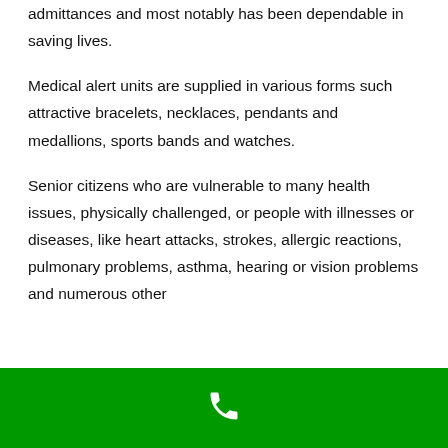admittances and most notably has been dependable in saving lives.
Medical alert units are supplied in various forms such attractive bracelets, necklaces, pendants and medallions, sports bands and watches.
Senior citizens who are vulnerable to many health issues, physically challenged, or people with illnesses or diseases, like heart attacks, strokes, allergic reactions, pulmonary problems, asthma, hearing or vision problems and numerous other conditions should have a medical alert device.
[Figure (other): Green footer bar with a white phone/call icon centered]